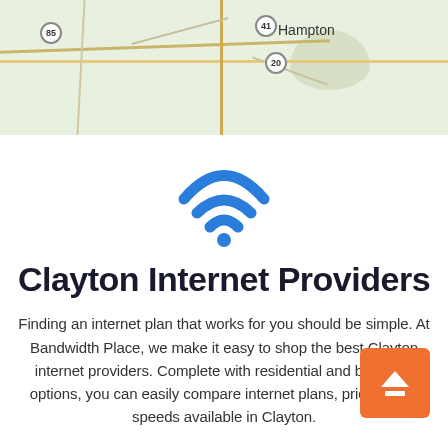[Figure (map): Street map showing route 85, route 41, route 20, and the town of Hampton with green terrain background]
[Figure (illustration): Blue WiFi signal icon with three arcs and a dot]
Clayton Internet Providers
Finding an internet plan that works for you should be simple. At Bandwidth Place, we make it easy to shop the best Clayton internet providers. Complete with residential and business options, you can easily compare internet plans, pricing, and speeds available in Clayton.